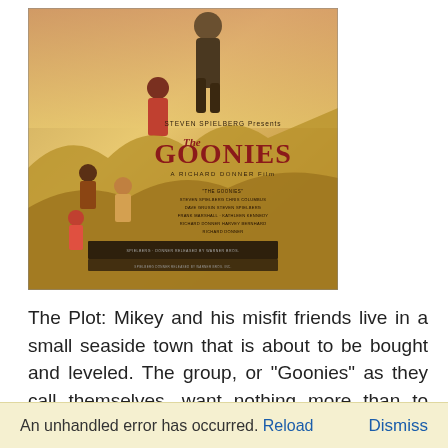[Figure (photo): Movie poster for The Goonies — a Richard Donner Film, produced by Steven Spielberg. Shows children adventurers with dramatic illustrated art, credits listed at the bottom.]
The Plot: Mikey and his misfit friends live in a small seaside town that is about to be bought and leveled. The group, or "Goonies" as they call themselves, want nothing more than to save the town. When Mikey finds a treasure map in his attic they get that chance. With his older brother and two
An unhandled error has occurred. Reload   Dismiss